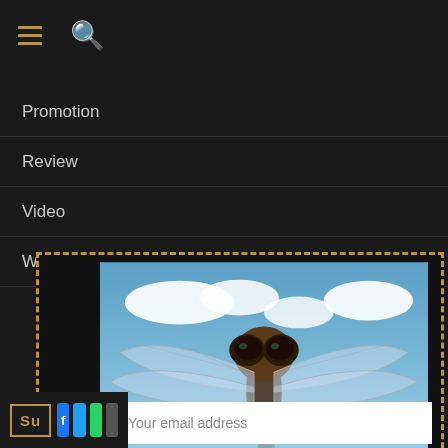[Figure (screenshot): Website navigation menu with dark background, hamburger menu icon and search icon at top, showing menu items: Promotion, Review, Video, Workshop]
Promotion
Review
Video
Workshop
[Figure (photo): Close-up macro photograph of a dragonfly facing the camera with wings spread, sky and landscape in background, with MAILING LIST text overlay at bottom]
MAILING LIST
Like the content here? Get notified for new posts, stories, workshops and book launches! Your email will never be shared with others.
Your email address